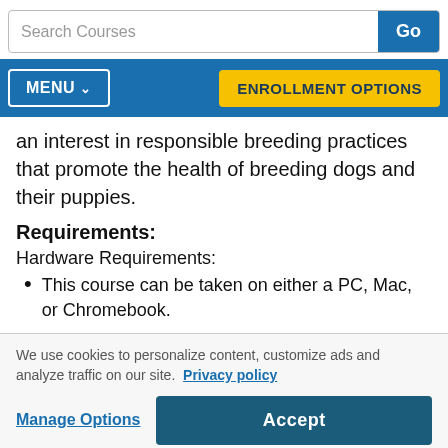Search Courses | Go
MENU | ENROLLMENT OPTIONS
an interest in responsible breeding practices that promote the health of breeding dogs and their puppies.
Requirements:
Hardware Requirements:
This course can be taken on either a PC, Mac, or Chromebook.
We use cookies to personalize content, customize ads and analyze traffic on our site. Privacy policy
Manage Options | Accept